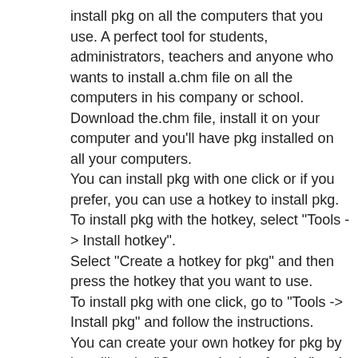install pkg on all the computers that you use. A perfect tool for students, administrators, teachers and anyone who wants to install a.chm file on all the computers in his company or school.
Download the.chm file, install it on your computer and you'll have pkg installed on all your computers.
You can install pkg with one click or if you prefer, you can use a hotkey to install pkg.
To install pkg with the hotkey, select "Tools -> Install hotkey".
Select "Create a hotkey for pkg" and then press the hotkey that you want to use.
To install pkg with one click, go to "Tools -> Install pkg" and follow the instructions.
You can create your own hotkey for pkg by installing the "Create a hotkey for pkg" and then go to "Tools -> Create hotkey".
After creating your hotkey, you'll be ab... start pkg on all the computers that you use...